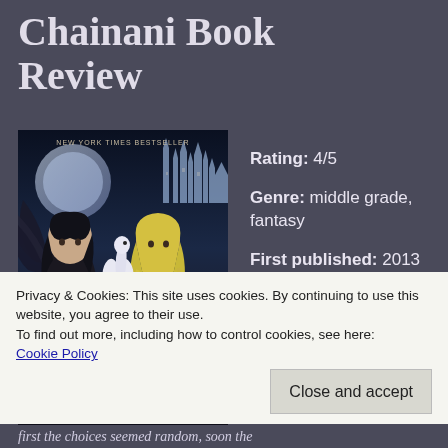Chainani Book Review
[Figure (illustration): Book cover of 'The School for Good and Evil' (New York Times Bestseller) showing two girls — one with dark hair and wings, one with blonde hair — with a white swan between them, against a fantasy castle background. Bottom has a decorative banner with the book title.]
Rating: 4/5
Genre: middle grade, fantasy
First published: 2013
Author: Soman Chainani
Privacy & Cookies: This site uses cookies. By continuing to use this website, you agree to their use.
To find out more, including how to control cookies, see here: Cookie Policy
first the choices seemed random, soon the